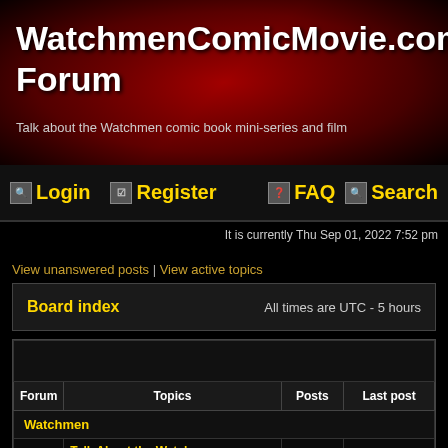[Figure (photo): Dark red-tinted banner with figures, header for WatchmenComicMovie.com Forum]
WatchmenComicMovie.com Forum
Talk about the Watchmen comic book mini-series and film
Login  Register  FAQ  Search
It is currently Thu Sep 01, 2022 7:52 pm
View unanswered posts | View active topics
Board index   All times are UTC - 5 hours
| Forum | Topics | Posts | Last post |
| --- | --- | --- | --- |
| Watchmen |  |  |  |
| Talk About the Watchmen Comic/Graphic Novel... |  |  |  |